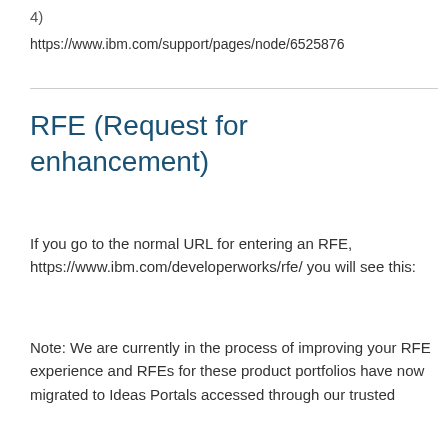4)
https://www.ibm.com/support/pages/node/6525876
RFE (Request for enhancement)
If you go to the normal URL for entering an RFE, https://www.ibm.com/developerworks/rfe/ you will see this:
Note: We are currently in the process of improving your RFE experience and RFEs for these product portfolios have now migrated to Ideas Portals accessed through our trusted